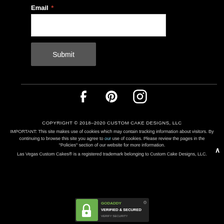Email *
[Figure (screenshot): White email input text field]
Submit
[Figure (illustration): Social media icons: Facebook, Pinterest, Instagram]
COPYRIGHT © 2018–2020 CUSTOM CAKE DESIGNS, LLC
IMPORTANT: This site makes use of cookies which may contain tracking information about visitors. By continuing to browse this site you agree to our use of cookies. Please review the pages in the "Policies" section of our website for more information.
Las Vegas Custom Cakes® is a registered trademark belonging to Custom Cake Designs, LLC.
[Figure (logo): GoDaddy Verified & Secured seal]